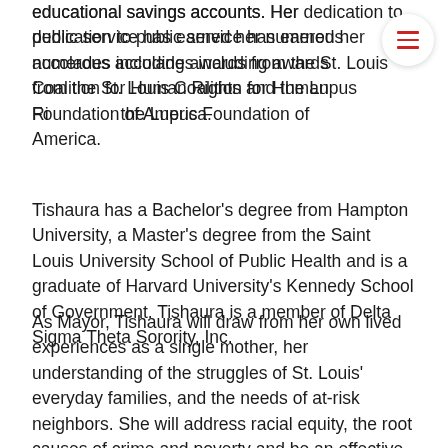educational savings accounts. Her dedication to public service has earned her numerous accolades including awards from the St. Louis Coalition for Human Rights and the Lupus Foundation of America.
Tishaura has a Bachelor's degree from Hampton University, a Master's degree from the Saint Louis University School of Public Health and is a graduate of Harvard University's Kennedy School of Government. Tishaura is a member of Delta Sigma Theta Sorority, Inc.
As Mayor, Tishaura will draw from her own lived experiences as a single mother, her understanding of the struggles of St. Louis' everyday families, and the needs of at-risk neighbors. She will address racial equity, the root causes of crime and poverty and be an effective leader for COVID-19 recovery.